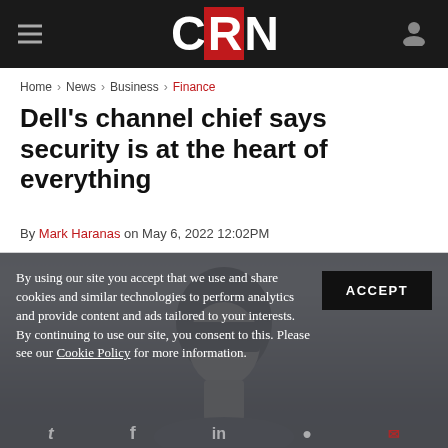CRN
Home > News > Business > Finance
Dell's channel chief says security is at the heart of everything
By Mark Haranas on May 6, 2022 12:02PM
[Figure (photo): Portrait photo of a person with dark hair, blurred background, cropped at upper body]
By using our site you accept that we use and share cookies and similar technologies to perform analytics and provide content and ads tailored to your interests. By continuing to use our site, you consent to this. Please see our Cookie Policy for more information.